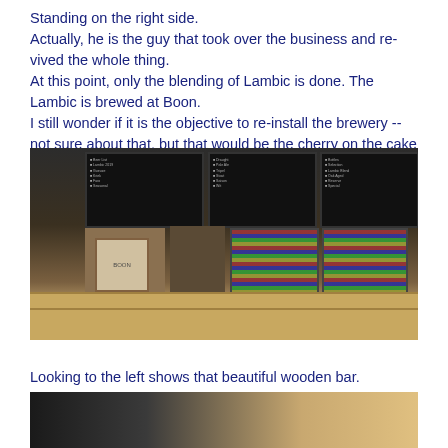Standing on the right side.
Actually, he is the guy that took over the business and re-vived the whole thing.
At this point, only the blending of Lambic is done. The Lambic is brewed at Boon.
I still wonder if it is the objective to re-install the brewery -- not sure about that, but that would be the cherry on the cake 🤑😋🤑
[Figure (photo): Interior of a craft beer bar showing a wooden counter, two glass-doored beer fridges stocked with bottles, a logo display board, a glasses rack, and digital menu boards mounted on the dark wall above.]
Looking to the left shows that beautiful wooden bar.
[Figure (photo): Partial view of the wooden bar interior, showing metallic equipment and warm wooden tones.]